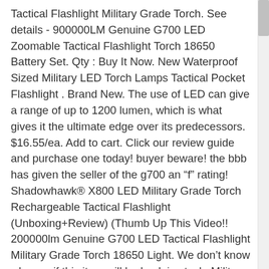Tactical Flashlight Military Grade Torch. See details - 900000LM Genuine G700 LED Zoomable Tactical Flashlight Torch 18650 Battery Set. Qty : Buy It Now. New Waterproof Sized Military LED Torch Lamps Tactical Pocket Flashlight . Brand New. The use of LED can give a range of up to 1200 lumen, which is what gives it the ultimate edge over its predecessors. $16.55/ea. Add to cart. Click our review guide and purchase one today! buyer beware! the bbb has given the seller of the g700 an “f” rating! Shadowhawk® X800 LED Military Grade Torch Rechargeable Tactical Flashlight (Unboxing+Review) (Thumb Up This Video!! 200000lm Genuine G700 LED Tactical Flashlight Military Grade Torch 18650 Light. We don’t know when or if this item will be back in stock. Military Grade 2000 Lumen LED Tactical Flashlight with 18650 Rechargeable Battery + Charger quantity. Tactical Flashlight Military Grade Tac Flashlight with 5 Light Modes Water Resistant Flashlight Lamp Torch Brand: TotaLohan. See all 10 brand new listings . We explored LED Tactical Flashlight Military Grade Torch Small Super